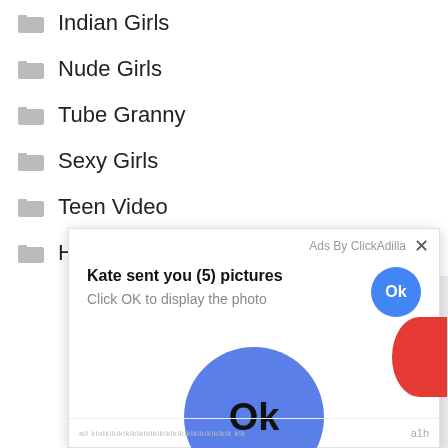Indian Girls
Nude Girls
Tube Granny
Sexy Girls
Teen Video
Husband Wife
[Figure (screenshot): Ad overlay from ClickAdilla showing 'Kate sent you (5) pictures' with 'Click OK to display the photo' and two blue OK buttons]